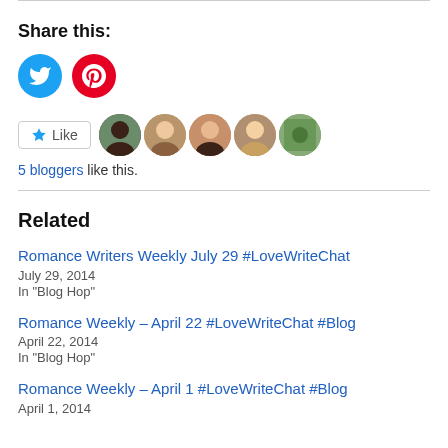Share this:
[Figure (infographic): Two circular social media share buttons: Twitter (blue) and Pinterest (red)]
[Figure (infographic): Like button with star icon followed by 5 blogger avatar thumbnails]
5 bloggers like this.
Related
Romance Writers Weekly July 29 #LoveWriteChat
July 29, 2014
In "Blog Hop"
Romance Weekly – April 22 #LoveWriteChat #Blog
April 22, 2014
In "Blog Hop"
Romance Weekly – April 1 #LoveWriteChat #Blog
April 1, 2014